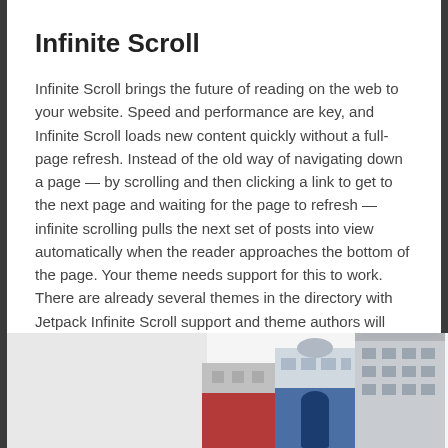Infinite Scroll
Infinite Scroll brings the future of reading on the web to your website. Speed and performance are key, and Infinite Scroll loads new content quickly without a full-page refresh. Instead of the old way of navigating down a page — by scrolling and then clicking a link to get to the next page and waiting for the page to refresh — infinite scrolling pulls the next set of posts into view automatically when the reader approaches the bottom of the page. Your theme needs support for this to work. There are already several themes in the directory with Jetpack Infinite Scroll support and theme authors will find documentation for adding it to any theme on jetpack.me.
[Figure (illustration): Illustration of cartoon-style buildings/storefronts in a town scene, partially visible at the bottom of the page.]